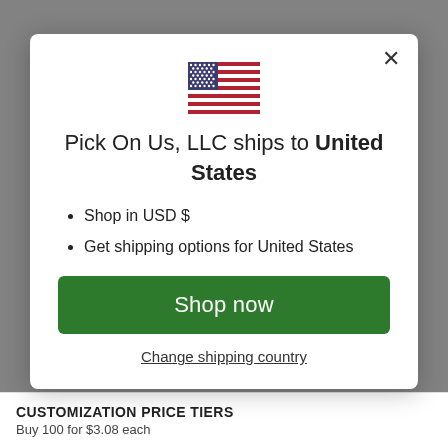[Figure (screenshot): E-commerce website background with product images and grey overlay]
[Figure (illustration): US flag emoji/icon centered in modal]
Pick On Us, LLC ships to United States
Shop in USD $
Get shipping options for United States
Shop now
Change shipping country
CUSTOMIZATION PRICE TIERS
Buy 100 for $3.08 each